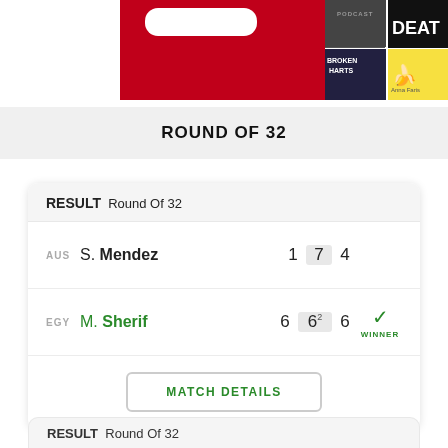[Figure (screenshot): Partial view of podcast/app thumbnails including Broken Hearts, a banana-themed show, DEAT(H), and MONSTE(R) covers on a red/white background]
ROUND OF 32
| Country | Player | Set 1 | Set 2 | Set 3 | Winner |
| --- | --- | --- | --- | --- | --- |
| AUS | S. Mendez | 1 | 7 | 4 |  |
| EGY | M. Sherif | 6 | 6² | 6 | WINNER |
RESULT  Round Of 32
MATCH DETAILS
RESULT  Round Of 32